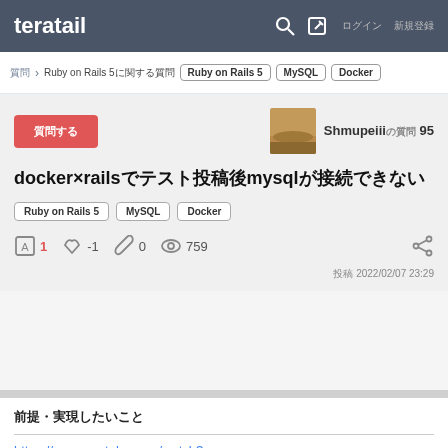teratail
質問 > Ruby on Rails 5に関する質問 | Ruby on Rails 5 | MySQL | Docker
質問する
Shmupeiii の質問 95
docker×railsでテスト投稿後mysqlが接続できない
Ruby on Rails 5
MySQL
Docker
A 1  👍 -1  🔗 0  👁 759
投稿 2022/02/07 23:29
前提・実現したいこと
https://www.youtube.com/watch?